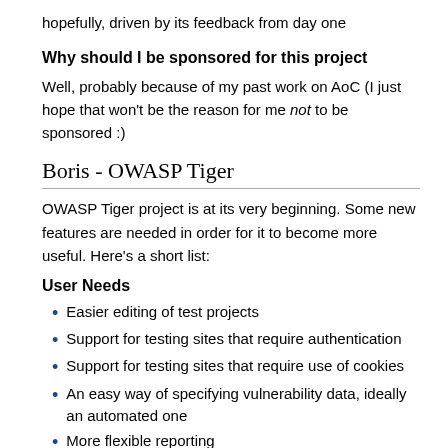hopefully, driven by its feedback from day one
Why should I be sponsored for this project
Well, probably because of my past work on AoC (I just hope that won't be the reason for me not to be sponsored :)
Boris - OWASP Tiger
OWASP Tiger project is at its very beginning. Some new features are needed in order for it to become more useful. Here's a short list:
User Needs
Easier editing of test projects
Support for testing sites that require authentication
Support for testing sites that require use of cookies
An easy way of specifying vulnerability data, ideally an automated one
More flexible reporting
More project templates